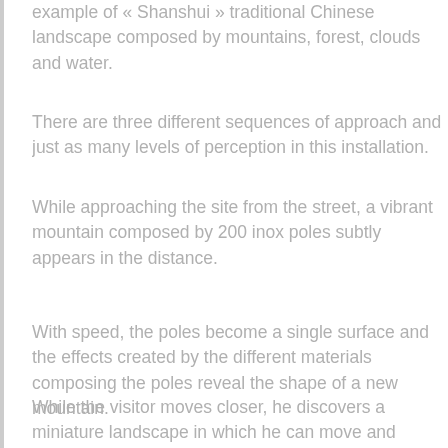example of « Shanshui » traditional Chinese landscape composed by mountains, forest, clouds and water.
There are three different sequences of approach and just as many levels of perception in this installation.
While approaching the site from the street, a vibrant mountain composed by 200 inox poles subtly appears in the distance.
With speed, the poles become a single surface and the effects created by the different materials composing the poles reveal the shape of a new mountain.
While the visitor moves closer, he discovers a miniature landscape in which he can move and stroll. The poles become a forest; a black marble river invites the visitor